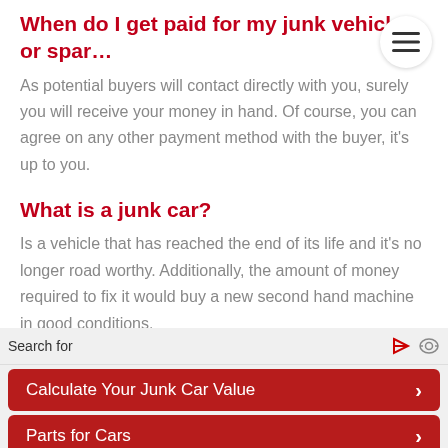When do I get paid for my junk vehicle or spar…
As potential buyers will contact directly with you, surely you will receive your money in hand. Of course, you can agree on any other payment method with the buyer, it's up to you.
What is a junk car?
Is a vehicle that has reached the end of its life and it's no longer road worthy. Additionally, the amount of money required to fix it would buy a new second hand machine in good conditions.
How potential buyers will contact me?
The messages will arrive to your email inbox through a contact form.
Search for
Calculate Your Junk Car Value
Parts for Cars